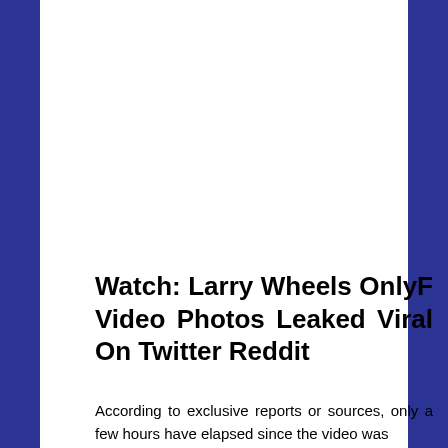Watch: Larry Wheels OnlyF Video Photos Leaked Viral On Twitter Reddit
According to exclusive reports or sources, only a few hours have elapsed since the video was